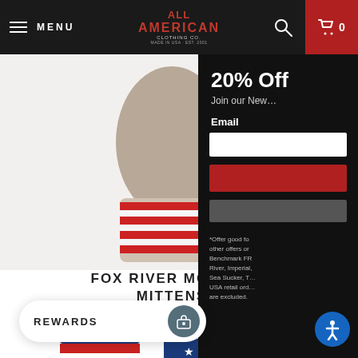All American Clothing Co. — MENU | Cart 0
[Figure (photo): Fox River Monkey Mittens product photo — grey wool mittens with red and white striped cuff band]
FOX RIVER MONKEY MITTENS
$16.95  $19.95
[Figure (photo): Partially visible product listing: ALL AMERICAN DENIM KEY FOBS MADE IN USA — from $4.95, with two color swatches (dark blue and light blue)]
[Figure (photo): American flag patriotic socks product photo showing two pairs of socks — one with red and white stripes and one with blue field and white stars]
SALE
[Figure (infographic): Newsletter signup overlay panel showing: 20% Off — Join our Newsletter — Email input field — red subscribe button — *Offer good for other offers or Benchmark FR, River, Imperial, Sea Sucker, T— USA retail ord— are excluded.]
REWARDS
[Figure (other): Blue accessibility icon button]